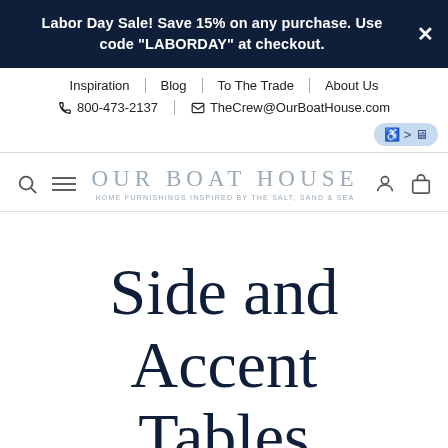Labor Day Sale! Save 15% on any purchase. Use code "LABORDAY" at checkout.
Inspiration | Blog | To The Trade | About Us | 800-473-2137 | TheCrew@OurBoatHouse.com
OUR BOAT HOUSE — HOME FURNISHINGS INSPIRED BY THE SALT, SAND & SEA
Side and Accent Tables